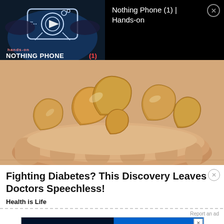[Figure (screenshot): Video ad overlay for Nothing Phone (1) Hands-on with thumbnail showing phone silhouette on dark blue background with play button, 'hands-on' label in red, 'NOTHING PHONE (1)' in white bold text, and a close button (X)]
Nothing Phone (1) | Hands-on
[Figure (photo): Close-up photo of several cashew nuts resting on an open human palm]
Fighting Diabetes? This Discovery Leaves Doctors Speechless!
Health is Life
[Figure (screenshot): Disney Bundle advertisement showing Hulu, Disney+, ESPN+ logos on dark background with 'GET THE DISNEY BUNDLE' call-to-action in blue, and small disclaimer text]
Report an ad